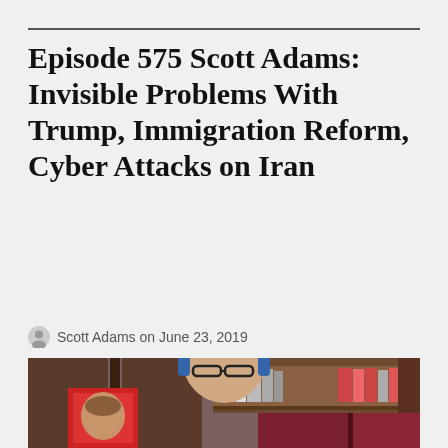Episode 575 Scott Adams: Invisible Problems With Trump, Immigration Reform, Cyber Attacks on Iran
Scott Adams on June 23, 2019
[Figure (photo): A bald man wearing glasses and headphones seated in front of a bookshelf and dark wood paneling, with a red framed picture on the left showing a woman's face.]